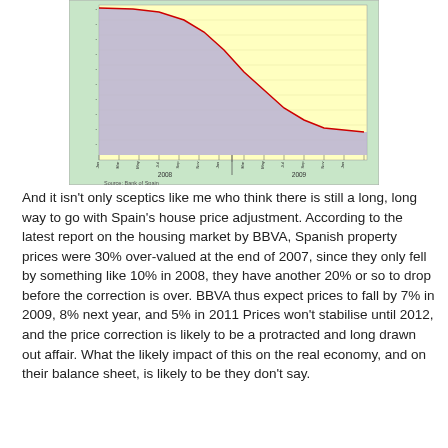[Figure (area-chart): Area chart showing Spain house price data for 2008-2009, with yellow and purple shaded areas and a red declining line. Source: Bank of Spain.]
And it isn't only sceptics like me who think there is still a long, long way to go with Spain's house price adjustment. According to the latest report on the housing market by BBVA, Spanish property prices were 30% over-valued at the end of 2007, since they only fell by something like 10% in 2008, they have another 20% or so to drop before the correction is over. BBVA thus expect prices to fall by 7% in 2009, 8% next year, and 5% in 2011 Prices won't stabilise until 2012, and the price correction is likely to be a protracted and long drawn out affair. What the likely impact of this on the real economy, and on their balance sheet, is likely to be they don't say.